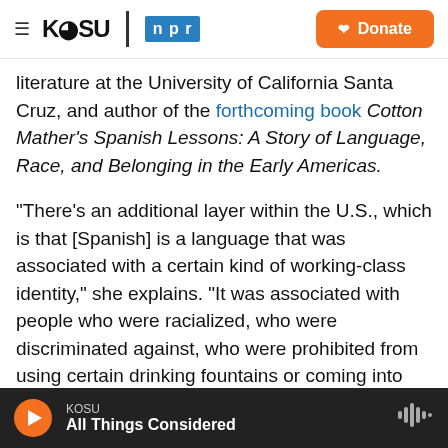KOSU | npr  Donate
literature at the University of California Santa Cruz, and author of the forthcoming book Cotton Mather's Spanish Lessons: A Story of Language, Race, and Belonging in the Early Americas.
"There's an additional layer within the U.S., which is that [Spanish] is a language that was associated with a certain kind of working-class identity," she explains. "It was associated with people who were racialized, who were discriminated against, who were prohibited from using certain drinking fountains or coming into certain schools."
KOSU
All Things Considered